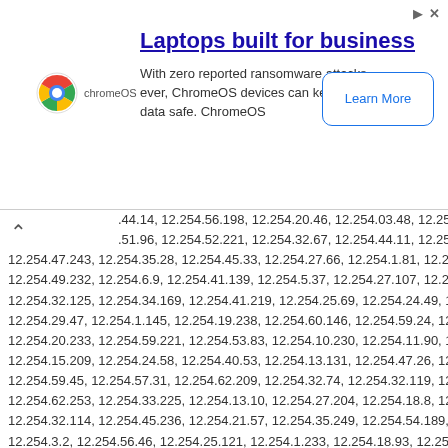[Figure (other): ChromeOS advertisement banner with title 'Laptops built for business', body text 'With zero reported ransomware attacks ever, ChromeOS devices can keep your data safe. ChromeOS', a ChromeOS logo, and a 'Learn More' button.]
.44.14, 12.254.56.198, 12.254.20.46, 12.254.03.48, 12.254.48.94, 12.254... .51.96, 12.254.52.221, 12.254.32.67, 12.254.44.11, 12.254.59.185, 12.25... 12.254.47.243, 12.254.35.28, 12.254.45.33, 12.254.27.66, 12.254.1.81, 12.254.1... 12.254.49.232, 12.254.6.9, 12.254.41.139, 12.254.5.37, 12.254.27.107, 12.254.6... 12.254.32.125, 12.254.34.169, 12.254.41.219, 12.254.25.69, 12.254.24.49, 12.2... 12.254.29.47, 12.254.1.145, 12.254.19.238, 12.254.60.146, 12.254.59.24, 12.25... 12.254.20.233, 12.254.59.221, 12.254.53.83, 12.254.10.230, 12.254.11.90, 12.2... 12.254.15.209, 12.254.24.58, 12.254.40.53, 12.254.13.131, 12.254.47.26, 12.25... 12.254.59.45, 12.254.57.31, 12.254.62.209, 12.254.32.74, 12.254.32.119, 12.25... 12.254.62.253, 12.254.33.225, 12.254.13.10, 12.254.27.204, 12.254.18.8, 12.25... 12.254.32.114, 12.254.45.236, 12.254.21.57, 12.254.35.249, 12.254.54.189, 12... 12.254.3.2, 12.254.56.46, 12.254.25.121, 12.254.1.233, 12.254.18.93, 12.254.39... 12.254.43.158, 12.254.33.34, 12.254.59.233, 12.254.57.99, 12.254.63.44, 12.25... 12.254.12.253, 12.254.14.61, 12.254.52.159, 12.254.3.148, 12.254.52.236, 12.2... 12.254.33.197, 12.254.6.126, 12.254.47.219, 12.254.36.29, 12.254.24.116, 12.2... 12.254.25.189, 12.254.32.180, 12.254.20.190, 12.254.43.29, 12.254.26.47, 12.2... 12.254.24.184, 12.254.57.175, 12.254.20.44, 12.254.3.242, 12.254.1.172, 12.25... 12.254.4.203, 12.254.29.228, 12.254.36.105, 12.254.29.51, 12.254.50.23, 12.25... 12.254.41.164, 12.254.24.142, 12.254.35.179, 12.254.12.60, 12.254.4.32, 12.25... 12.254.54.216, 12.254.16.45, 12.254.58.131, 12.254.36.216, 12.254.26.216, 12... 12.254.31.126, 12.254.59.149, 12.254.7.173, 12.254.4.169, 12.254.1.229, 12.25... 12.254.40.122, 12.254.55.187, 12.254.36.128, 12.254.49.30, 12.254.40.134, 12... 12.254.18.71, 12.254.34.164, 12.254.32.103, 12.254.0.53, 12.254.27.109, 12.25... 12.254.42.175, 12.254.0.94, 12.254.32.85, 12.254.39.104, 12.254.63.186, 12.25... 12.254.54.120, 12.254.3.89, 12.254.43.214, 12.254.2.59, 12.254.25.42, 12.254... 12.254.45.181, 12.254.15.12, 12.254.57.20, 12.254.52.15, 12.254.59.5...